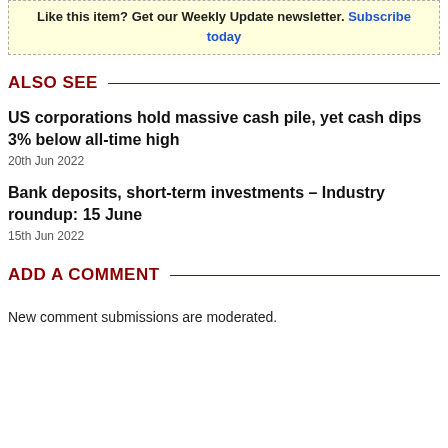Like this item? Get our Weekly Update newsletter. Subscribe today
ALSO SEE
US corporations hold massive cash pile, yet cash dips 3% below all-time high
20th Jun 2022
Bank deposits, short-term investments – Industry roundup: 15 June
15th Jun 2022
ADD A COMMENT
New comment submissions are moderated.